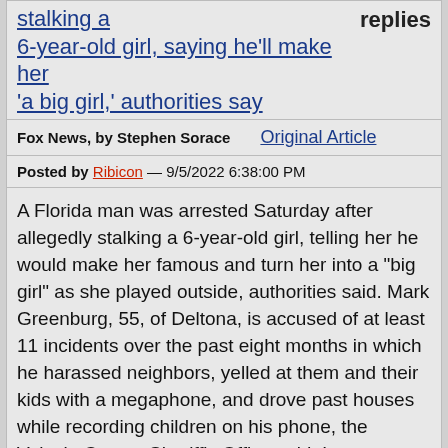stalking a 6-year-old girl, saying he'll make her 'a big girl,' authorities say
replies
Fox News, by Stephen Sorace    Original Article
Posted by Ribicon — 9/5/2022 6:38:00 PM
A Florida man was arrested Saturday after allegedly stalking a 6-year-old girl, telling her he would make her famous and turn her into a "big girl" as she played outside, authorities said. Mark Greenburg, 55, of Deltona, is accused of at least 11 incidents over the past eight months in which he harassed neighbors, yelled at them and their kids with a megaphone, and drove past houses while recording children on his phone, the Volusia County Sheriff's Office said. In one incident, a father told deputies that Greenburg walked to the end of a driveway where his 6-year-old daughter was play [X] and made unusual comments,